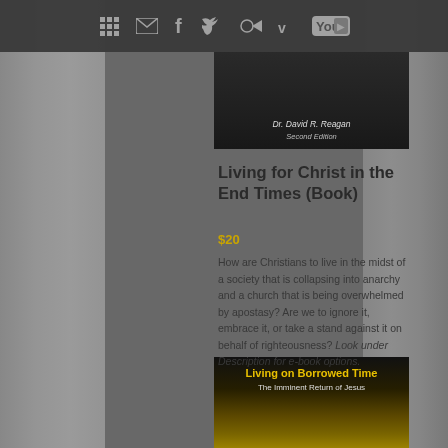Navigation bar with social media icons: grid, email, Facebook, Twitter, RSS, Vimeo, YouTube
[Figure (photo): Book cover top portion showing author name Dr. David R. Reagan and Second Edition text on dark background]
Living for Christ in the End Times (Book)
$20
How are Christians to live in the midst of a society that is collapsing into anarchy and a church that is being overwhelmed by apostasy? Are we to ignore it, embrace it, or take a stand against it on behalf of righteousness? Look under Description for e-book options.
[Figure (photo): Book cover for Living on Borrowed Time: The Imminent Return of Jesus, with yellow-orange globe imagery on dark background]